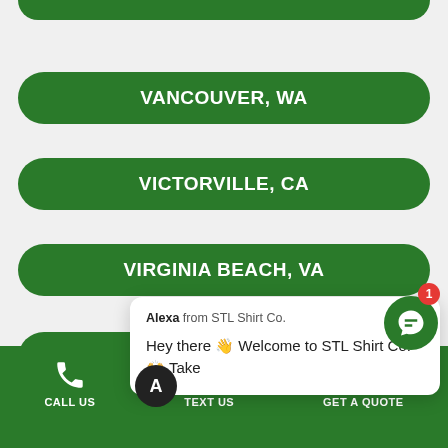VANCOUVER, WA
VICTORVILLE, CA
VIRGINIA BEACH, VA
VISALIA, CA
WACO (partially visible)
WARREN, MI (partially visible)
[Figure (screenshot): Chat popup from Alexa from STL Shirt Co. saying: Hey there 👋 Welcome to STL Shirt Co. 🙌 Take...]
CALL US | TEXT US | GET A QUOTE